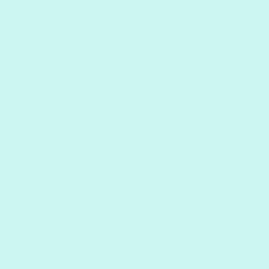or do the ste it fro the To co pe fitt as thi blo sta life as a lar